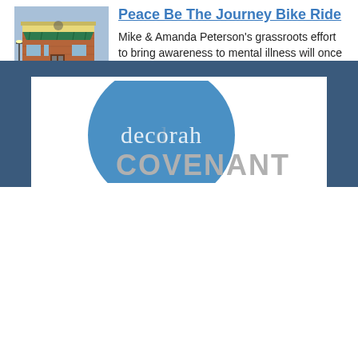[Figure (photo): Exterior photo of a brick building with green awning and a clock or sign above the door — streetside view.]
Peace Be The Journey Bike Ride
Mike & Amanda Peterson's grassroots effort to bring awareness to mental illness will once again be taking place this year on October 2nd! The ride was rained out in 2019 and cancelled due to Covid in 2020, but the movement continues in 2021! To read more information about this ride, how you can participate, or to register, check out THIS Decorah Newspaper article!Read More
[Figure (logo): Decorah Covenant logo — blue circle with 'decorah' text and 'COVENANT' text below in large gray letters.]